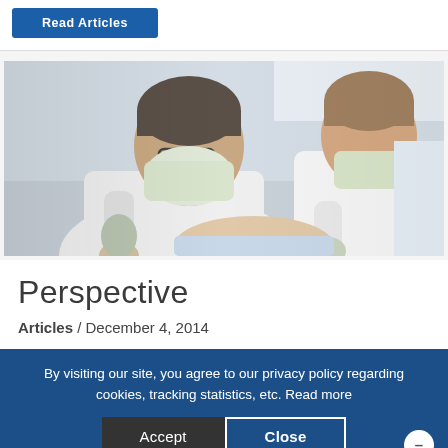[Figure (other): Button labeled 'Read Articles' on a white background with blue button styling]
[Figure (photo): Two dental professionals wearing masks and gloves performing a dental procedure on a patient]
Perspective
Articles / December 4, 2014
By visiting our site, you agree to our privacy policy regarding cookies, tracking statistics, etc. Read more
Accept  Close